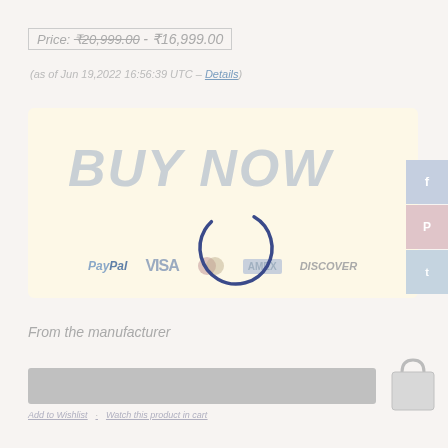Price: ₹20,999.00 - ₹16,999.00
(as of Jun 19,2022 16:56:39 UTC – Details)
[Figure (screenshot): Buy Now button on a light yellow background with PayPal, Visa, Mastercard, Amex, Discover payment icons below]
[Figure (other): Loading spinner (circular arc) overlaid on the Buy Now button area]
[Figure (other): Social media sidebar with Facebook, Pinterest, Twitter buttons]
From the manufacturer
[Figure (other): Gray bar and shopping bag icon at bottom]
Add to Wishlist  Watch this product in cart